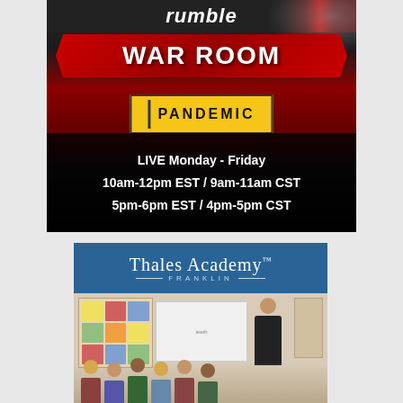[Figure (screenshot): Rumble War Room Pandemic advertisement. Shows 'rumble' logo at top, 'WAR ROOM' in red arrow banner, 'PANDEMIC' in yellow box, and schedule: 'LIVE Monday - Friday / 10am-12pm EST / 9am-11am CST / 5pm-6pm EST / 4pm-5pm CST']
[Figure (photo): Thales Academy Franklin advertisement. Blue header with 'Thales Academy' and 'FRANKLIN' subtitle. Below is a classroom photo with a teacher pointing at a whiteboard and students seated.]